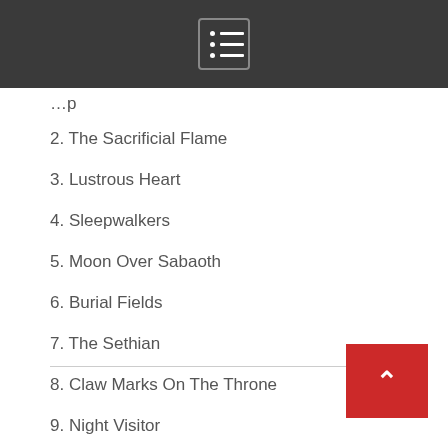[Menu icon]
2. The Sacrificial Flame
3. Lustrous Heart
4. Sleepwalkers
5. Moon Over Sabaoth
6. Burial Fields
7. The Sethian
8. Claw Marks On The Throne
9. Night Visitor
10. Ascend Into Darkness